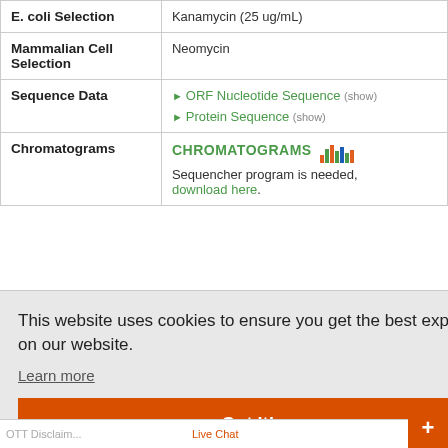| Property | Value |
| --- | --- |
| E. coli Selection | Kanamycin (25 ug/mL) |
| Mammalian Cell Selection | Neomycin |
| Sequence Data | ORF Nucleotide Sequence (show)
Protein Sequence (show) |
| Chromatograms | CHROMATOGRAMS [icon]
Sequencher program is needed, download here. |
This website uses cookies to ensure you get the best experience on our website.
Learn more
Got it!
Live Chat